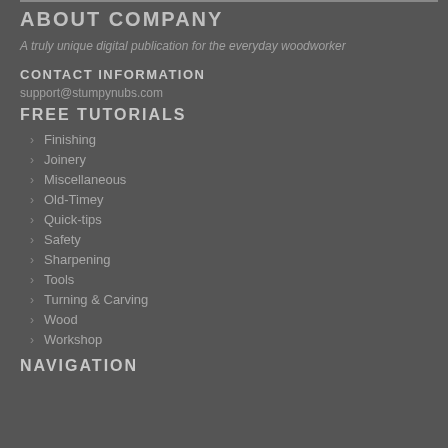ABOUT COMPANY
A truly unique digital publication for the everyday woodworker
CONTACT INFORMATION
support@stumpynubs.com
FREE TUTORIALS
Finishing
Joinery
Miscellaneous
Old-Timey
Quick-tips
Safety
Sharpening
Tools
Turning & Carving
Wood
Workshop
NAVIGATION